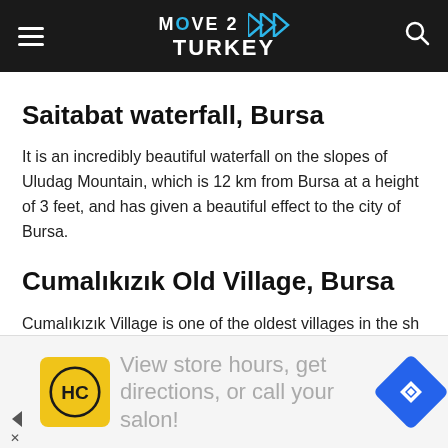MOVE 2 TURKEY
Saitabat waterfall, Bursa
It is an incredibly beautiful waterfall on the slopes of Uludag Mountain, which is 12 km from Bursa at a height of 3 feet, and has given a beautiful effect to the city of Bursa.
Cumalıkızık Old Village, Bursa
Cumalıkızık Village is one of the oldest villages in the sh city of Bursa, which was established more than 700
[Figure (other): Advertisement banner: HC logo (yellow background, black circular HC text), text 'View store hours, get directions, or call your salon!', blue navigation diamond icon on right.]